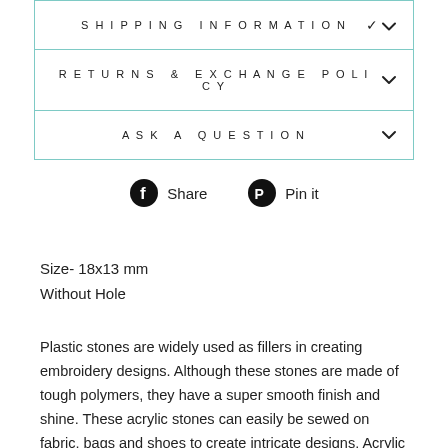SHIPPING INFORMATION
RETURNS & EXCHANGE POLICY
ASK A QUESTION
Share  Pin it
Size- 18x13 mm
Without Hole
Plastic stones are widely used as fillers in creating embroidery designs. Although these stones are made of tough polymers, they have a super smooth finish and shine. These acrylic stones can easily be sewed on fabric, bags and shoes to create intricate designs. Acrylic is a versatile material that is used to create unique designs. It is a durable material that has high resistance and does not develop cracks. They are faceted and reflect a huge amount of light. They are used in embroideries and on high fashion garments. Acrylic stones